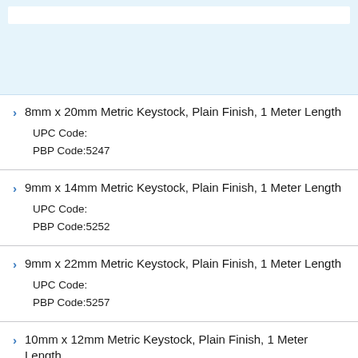[Figure (other): Top banner with light blue background and a white search/header bar element]
8mm x 20mm Metric Keystock, Plain Finish, 1 Meter Length
UPC Code:
PBP Code:5247
9mm x 14mm Metric Keystock, Plain Finish, 1 Meter Length
UPC Code:
PBP Code:5252
9mm x 22mm Metric Keystock, Plain Finish, 1 Meter Length
UPC Code:
PBP Code:5257
10mm x 12mm Metric Keystock, Plain Finish, 1 Meter Length
UPC Code:
PBP Code:5262
10mm x 16mm Metric Keystock, Plain Finish, 1 Meter Length